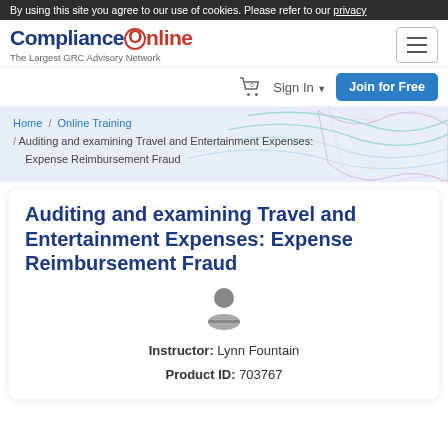By using this site you agree to our use of cookies. Please refer to our privacy
[Figure (logo): ComplianceOnline logo with red circle O and tagline 'The Largest GRC Advisory Network']
Sign In   Join for Free
Home / Online Training / Auditing and examining Travel and Entertainment Expenses: Expense Reimbursement Fraud
Auditing and examining Travel and Entertainment Expenses: Expense Reimbursement Fraud
Instructor: Lynn Fountain
Product ID: 703767